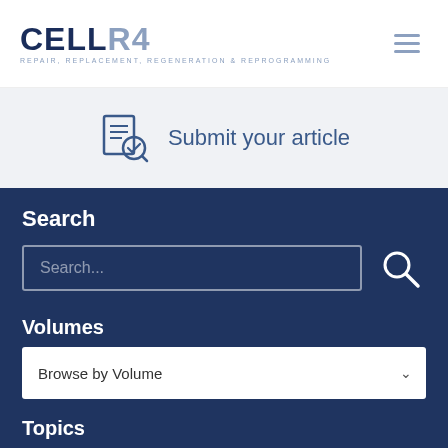[Figure (logo): CELLR4 journal logo — REPAIR, REPLACEMENT, REGENERATION & REPROGRAMMING]
[Figure (illustration): Hamburger menu icon (three horizontal lines)]
Submit your article
Search
Search...
Volumes
Browse by Volume
Topics